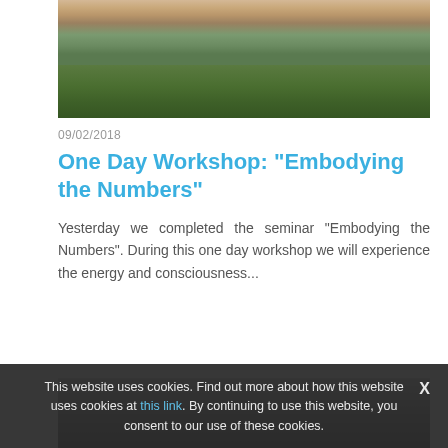[Figure (photo): Group of people sitting on grass outdoors]
09/02/2018
One Day Workshop: "Embodying the Numbers"
Yesterday we completed the seminar "Embodying the Numbers". During this one day workshop we will experience the energy and consciousness...
[Figure (photo): Partial photo of people at bottom of page]
This website uses cookies. Find out more about how this website uses cookies at this link. By continuing to use this website, you consent to our use of these cookies.